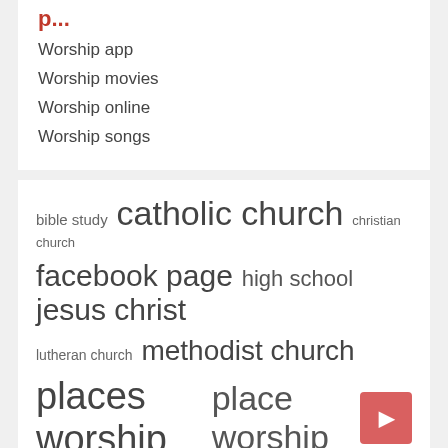Worship app
Worship movies
Worship online
Worship songs
[Figure (infographic): Tag cloud showing religious/church related keywords in varying font sizes: bible study, catholic church (largest), christian church, facebook page, high school, jesus christ, lutheran church, methodist church, places worship (large), place worship (large), presbyterian church, social distancing]
bible study catholic church christian church facebook page high school jesus christ lutheran church methodist church places worship place worship presbyterian church social distancing